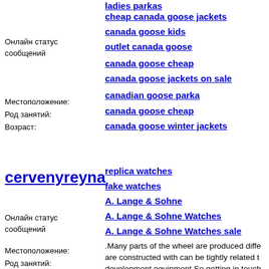ladies parkas
cheap canada goose jackets
canada goose kids
outlet canada goose
canada goose cheap
canada goose jackets on sale
canadian goose parka
canada goose cheap
canada goose winter jackets
Онлайн статус сообщений
Местоположение:
Род занятий:
Возраст:
cervenyreyna
replica watches
fake watches
A. Lange & Sohne
A. Lange & Sohne Watches
A. Lange & Sohne Watches sale
.Many parts of the wheel are produced diffe are constructed with can be tightly related t development equipment.So getting in touch knowledgeable pertaining to arts and also c qualified to provide you with advice about will need to get a fantastic wheel to learn o using the equipment without car accident. Using antique strategies to crafting has an
Онлайн статус сообщений
Местоположение:
Род занятий:
Возраст: